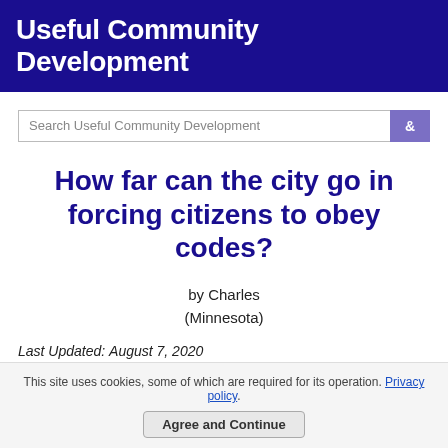Useful Community Development
[Figure (screenshot): Search bar with text 'Search Useful Community Development' and a purple search button]
How far can the city go in forcing citizens to obey codes?
by Charles
(Minnesota)
Last Updated: August 7, 2020
This site uses cookies, some of which are required for its operation. Privacy policy.
Agree and Continue